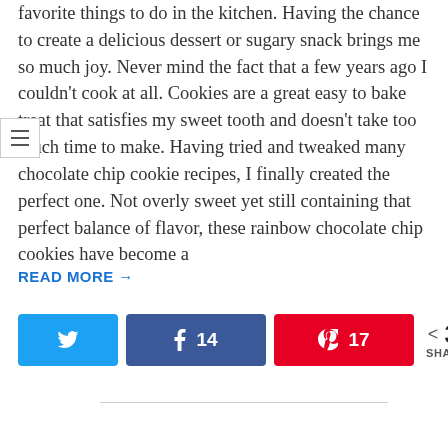favorite things to do in the kitchen. Having the chance to create a delicious dessert or sugary snack brings me so much joy. Never mind the fact that a few years ago I couldn't cook at all. Cookies are a great easy to bake treat that satisfies my sweet tooth and doesn't take too much time to make. Having tried and tweaked many chocolate chip cookie recipes, I finally created the perfect one. Not overly sweet yet still containing that perfect balance of flavor, these rainbow chocolate chip cookies have become a
READ MORE →
[Figure (infographic): Social share buttons: Twitter button (blue), Facebook button with count 14 (dark blue), Pinterest button with count 17 (red), and total shares count 31 SHARES]